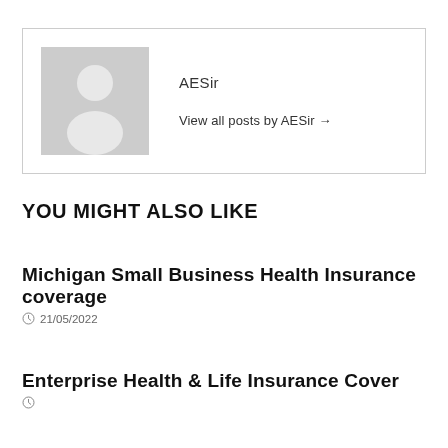[Figure (illustration): Author avatar placeholder with grey background showing silhouette of a person]
AESir
View all posts by AESir →
YOU MIGHT ALSO LIKE
Michigan Small Business Health Insurance coverage
21/05/2022
Enterprise Health & Life Insurance Cover
01/07/2022